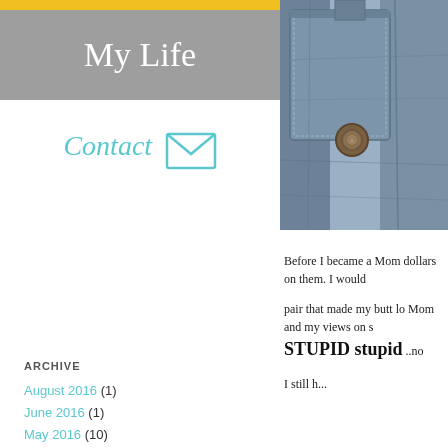My Life
Contact
ARCHIVE
August 2016 (1)
June 2016 (1)
May 2016 (10)
April 2016 (1)
March 2016 (6)
February 2016 (4)
January 2016 (8)
December 2015 (1)
[Figure (photo): Close-up photo of denim jeans showing pocket and button detail]
Before I became a Mom dollars on them. I would pair that made my butt lo Mom and my views on s STUPID stupid ..no I still h...